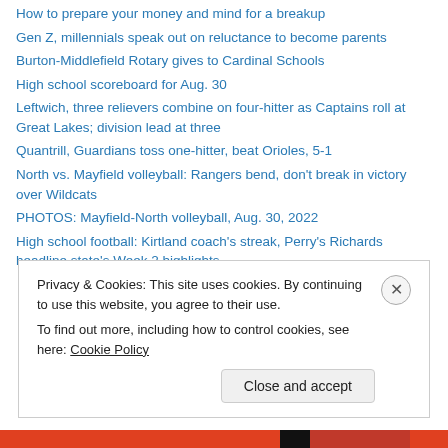How to prepare your money and mind for a breakup
Gen Z, millennials speak out on reluctance to become parents
Burton-Middlefield Rotary gives to Cardinal Schools
High school scoreboard for Aug. 30
Leftwich, three relievers combine on four-hitter as Captains roll at Great Lakes; division lead at three
Quantrill, Guardians toss one-hitter, beat Orioles, 5-1
North vs. Mayfield volleyball: Rangers bend, don't break in victory over Wildcats
PHOTOS: Mayfield-North volleyball, Aug. 30, 2022
High school football: Kirtland coach's streak, Perry's Richards headline state's Week 2 highlights
Privacy & Cookies: This site uses cookies. By continuing to use this website, you agree to their use. To find out more, including how to control cookies, see here: Cookie Policy